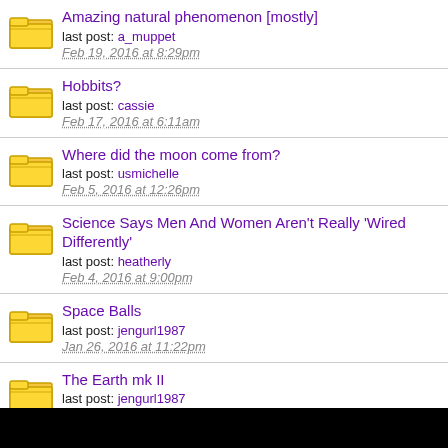Amazing natural phenomenon [mostly]
last post: a_muppet
Feb 19, 2016 at 8:29pm
Hobbits?
last post: cassie
Feb 17, 2016 at 6:11am
Where did the moon come from?
last post: usmichelle
Feb 5, 2016 at 12:26pm
Science Says Men And Women Aren't Really 'Wired Differently'
last post: heatherly
Feb 4, 2016 at 9:00pm
Space Balls
last post: jengurl1987
Jan 26, 2016 at 11:22pm
The Earth mk II
last post: jengurl1987
Jan 19, 2016 at 7:07pm